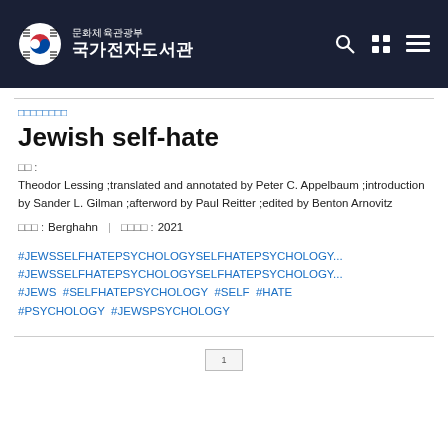문화체육관광부 국가전자도서관
□□□□□□□□
Jewish self-hate
□□ : Theodor Lessing ;translated and annotated by Peter C. Appelbaum ;introduction by Sander L. Gilman ;afterword by Paul Reitter ;edited by Benton Arnovitz
□□□ : Berghahn  |  □□□□ : 2021
#JEWSSELFHATEPSYCHOLOGYSELFHATEPSYCHOLOGY... #JEWSSELFHATEPSYCHOLOGYSELFHATEPSYCHOLOGY... #JEWS #SELFHATEPSYCHOLOGY #SELF #HATE #PSYCHOLOGY #JEWSPSYCHOLOGY